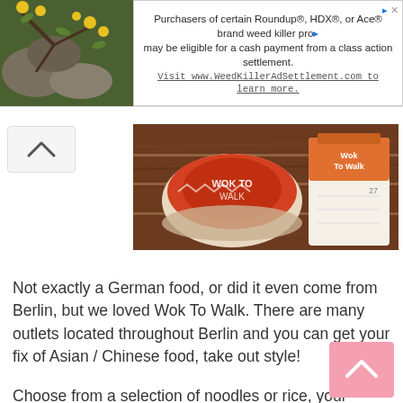[Figure (infographic): Advertisement banner: image of yellow flowers on left, text about Roundup/HDX/Ace weed killer class action settlement on right with visit URL www.WeedKillerAdSettlement.com]
[Figure (photo): Photo of Wok To Walk restaurant items on a wooden table — a bowl with logo and a white paper bag with orange Wok To Walk branding]
Not exactly a German food, or did it even come from Berlin, but we loved Wok To Walk. There are many outlets located throughout Berlin and you can get your fix of Asian / Chinese food, take out style!
Choose from a selection of noodles or rice, your toppings, and sauce, and you'll have your meal. This place is also a great place for Asians to have their Asian fix!